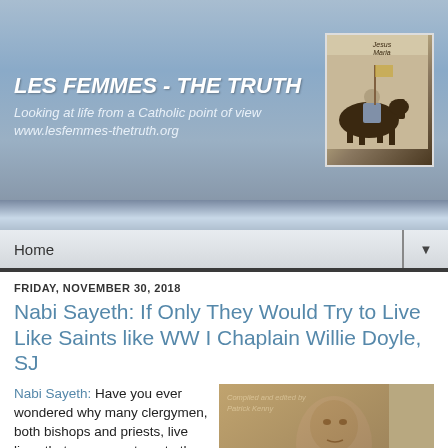LES FEMMES - THE TRUTH
Looking at life from a Catholic point of view
www.lesfemmes-thetruth.org
[Figure (illustration): Painting of Joan of Arc on horseback in armor, with text 'Jesus Maria' at top]
Home
FRIDAY, NOVEMBER 30, 2018
Nabi Sayeth: If Only They Would Try to Live Like Saints like WW I Chaplain Willie Doyle, SJ
Nabi Sayeth: Have you ever wondered why many clergymen, both bishops and priests, live lives that run so contrary to the life of Jesus
[Figure (photo): Sepia photo of Willie Doyle SJ, with text 'Compiled and edited by Patrick Kenny']